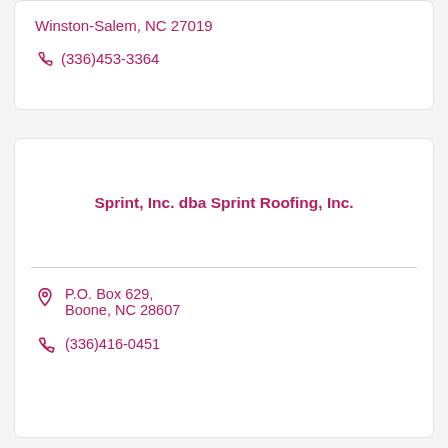Winston-Salem, NC 27019
(336)453-3364
Sprint, Inc. dba Sprint Roofing, Inc.
P.O. Box 629, Boone, NC 28607
(336)416-0451